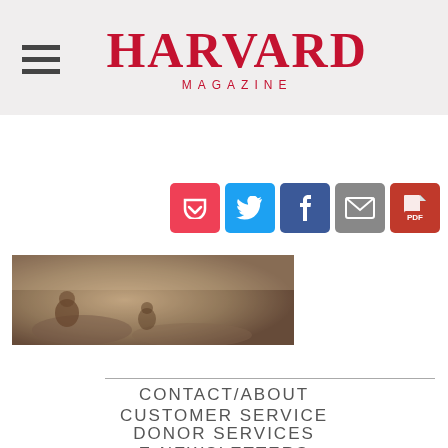HARVARD MAGAZINE
[Figure (screenshot): Harvard Magazine website header with hamburger menu icon on left and Harvard Magazine logo in red centered]
[Figure (photo): Sepia-toned historical photograph showing figures in a field]
[Figure (infographic): Social sharing icons: Pocket (red), Twitter (blue), Facebook (dark blue), Email (grey), PDF (red)]
CONTACT/ABOUT
CUSTOMER SERVICE
DONOR SERVICES
E-NEWSLETTERS